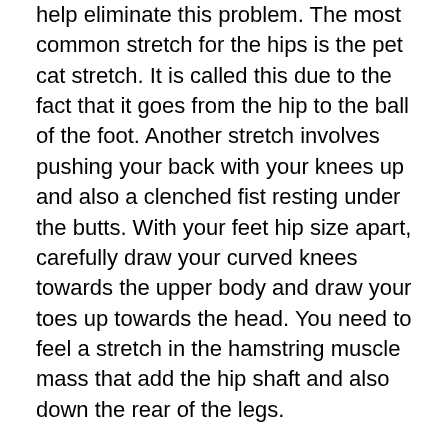There are several stretches that will certainly help eliminate this problem. The most common stretch for the hips is the pet cat stretch. It is called this due to the fact that it goes from the hip to the ball of the foot. Another stretch involves pushing your back with your knees up and also a clenched fist resting under the butts. With your feet hip size apart, carefully draw your curved knees towards the upper body and draw your toes up towards the head. You need to feel a stretch in the hamstring muscle mass that add the hip shaft and also down the rear of the legs.
Another stretch includes lying on your back with your butts extended. While your legs are directly, pull the inside of your knees towards your upper body. You will stretch the hamstring muscle mass.